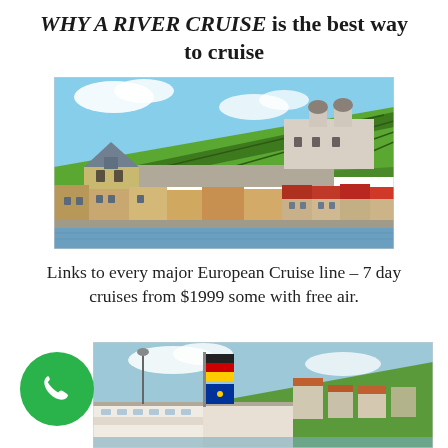WHY A RIVER CRUISE is the best way to cruise
[Figure (photo): Scenic view of a European riverside town with colorful buildings along the waterfront, green hillside vineyards, and a large castle or fortress on top of the hill under a blue sky.]
Links to every major European Cruise line – 7 day cruises from $1999 some with free air.
[Figure (photo): Partial view of a river cruise ship deck with flags and a blurred background showing a European town with buildings and trees.]
[Figure (illustration): Green circular phone call button icon with a white telephone handset symbol.]